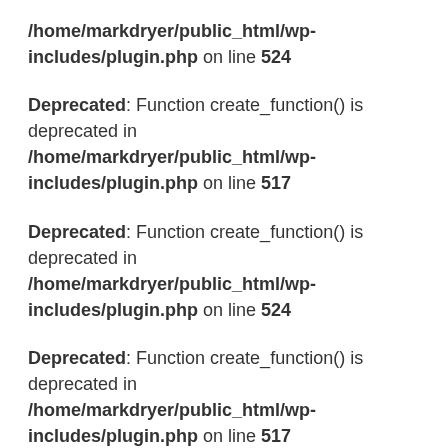/home/markdryer/public_html/wp-includes/plugin.php on line 524
Deprecated: Function create_function() is deprecated in /home/markdryer/public_html/wp-includes/plugin.php on line 517
Deprecated: Function create_function() is deprecated in /home/markdryer/public_html/wp-includes/plugin.php on line 524
Deprecated: Function create_function() is deprecated in /home/markdryer/public_html/wp-includes/plugin.php on line 517
Deprecated: Function create_function() is deprecated in /home/markdryer/public_html/wp-includes/plugin.php on line 524